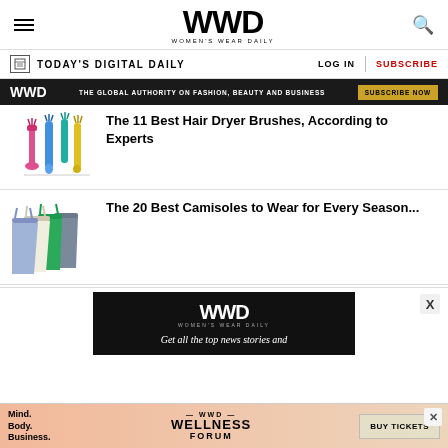WWD — Women's Wear Daily
TODAY'S DIGITAL DAILY   LOG IN   SUBSCRIBE
[Figure (infographic): WWD advertisement banner: black background with WWD logo, tagline 'THE GLOBAL AUTHORITY ON FASHION, BEAUTY AND BUSINESS', and 'SUBSCRIBE NOW' button]
The 11 Best Hair Dryer Brushes, According to Experts
The 20 Best Camisoles to Wear for Every Season...
[Figure (infographic): WWD dark advertisement block with logo and text 'Get all the top news stories and...']
[Figure (infographic): WWD Wellness Forum advertisement banner with 'Mind. Body. Business.' text, 'WELLNESS FORUM' title, and 'BUY TICKETS' button]